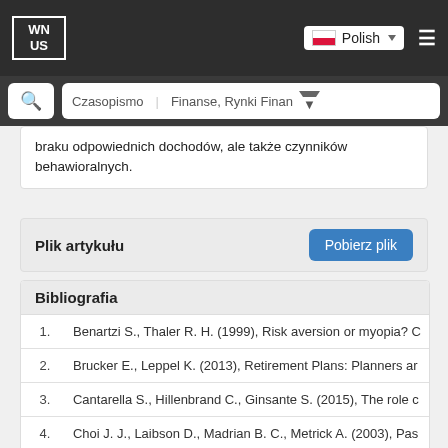[Figure (screenshot): Website navigation bar with WN US logo, Polish language selector with flag, and hamburger menu icon on dark background]
[Figure (screenshot): Search bar with search button, Czasopismo label and Finanse, Rynki Finan dropdown on dark background]
braku odpowiednich dochodów, ale także czynników behawioralnych.
Plik artykułu
Pobierz plik
Bibliografia
1. Benartzi S., Thaler R. H. (1999), Risk aversion or myopia? C
2. Brucker E., Leppel K. (2013), Retirement Plans: Planners ar
3. Cantarella S., Hillenbrand C., Ginsante S. (2015), The role c
4. Choi J. J., Laibson D., Madrian B. C., Metrick A. (2003), Pas
5. Choi ...